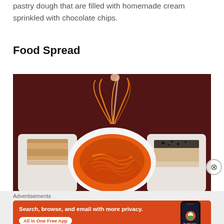pastry dough that are filled with homemade cream sprinkled with chocolate chips.
Food Spread
[Figure (photo): A food spread showing a bowl of noodles in red/orange sauce with a fork lifting noodles, flanked by two white plates — one with a layered dessert dusted with powder on the left, and one with a dark-topped dessert on the right, all on a dark wooden table.]
Advertisements
[Figure (screenshot): DuckDuckGo advertisement banner with orange background. Text reads: 'Search, browse, and email with more privacy. All in One Free App' with DuckDuckGo logo and a smartphone mockup on the right.]